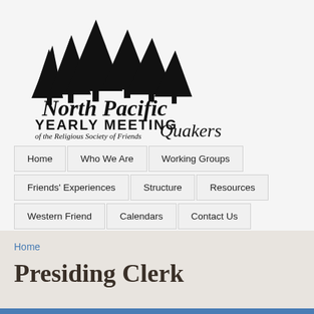[Figure (logo): North Pacific Yearly Meeting of the Religious Society of Friends Quakers logo with pine trees silhouette]
Home | Who We Are | Working Groups | Friends' Experiences | Structure | Resources | Western Friend | Calendars | Contact Us
Home
Presiding Clerk